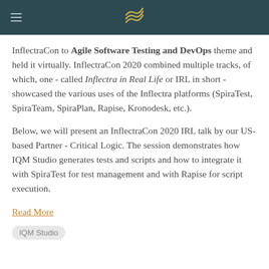Inflectra logo header bar
InflectraCon to Agile Software Testing and DevOps theme and held it virtually. InflectraCon 2020 combined multiple tracks, of which, one - called Inflectra in Real Life or IRL in short - showcased the various uses of the Inflectra platforms (SpiraTest, SpiraTeam, SpiraPlan, Rapise, Kronodesk, etc.).
Below, we will present an InflectraCon 2020 IRL talk by our US-based Partner - Critical Logic. The session demonstrates how IQM Studio generates tests and scripts and how to integrate it with SpiraTest for test management and with Rapise for script execution.
Read More
IQM Studio